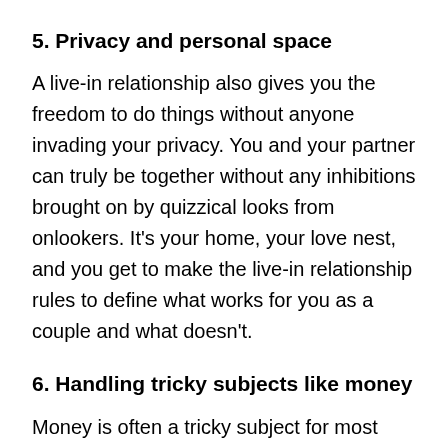5. Privacy and personal space
A live-in relationship also gives you the freedom to do things without anyone invading your privacy. You and your partner can truly be together without any inhibitions brought on by quizzical looks from onlookers. It's your home, your love nest, and you get to make the live-in relationship rules to define what works for you as a couple and what doesn't.
6. Handling tricky subjects like money
Money is often a tricky subject for most couples. Once you start living together, discussing money and figuring out how to avoid